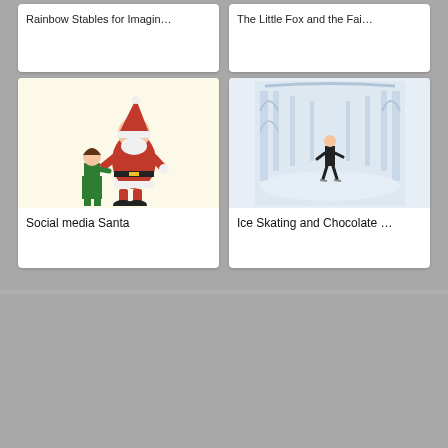Rainbow Stables for Imagin…
The Little Fox and the Fai…
[Figure (illustration): Santa Claus standing with a small girl kneeling, children's book illustration style]
Social media Santa
[Figure (illustration): Ice skating rink with a lone skater, large arched hall background]
Ice Skating and Chocolate …
Georgie Fearns
Illustrator
Manchester, United Kingdom
www.georgiefearnsiллust…